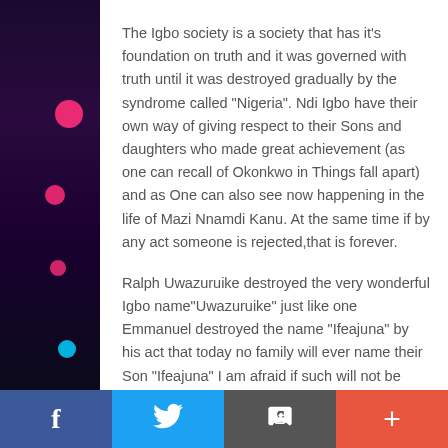The Igbo society is a society that has it's foundation on truth and it was governed with truth until it was destroyed gradually by the syndrome called "Nigeria". Ndi Igbo have their own way of giving respect to their Sons and daughters who made great achievement (as one can recall of Okonkwo in Things fall apart) and as One can also see now happening in the life of Mazi Nnamdi Kanu. At the same time if by any act someone is rejected,that is forever.
Ralph Uwazuruike destroyed the very wonderful Igbo name"Uwazuruike" just like one Emmanuel destroyed the name "Ifeajuna" by his act that today no family will ever name their Son "Ifeajuna" I am afraid if such will not be applicable to the name "Uwazuruike" because of
f  [Twitter bird]  [Save icon]  +